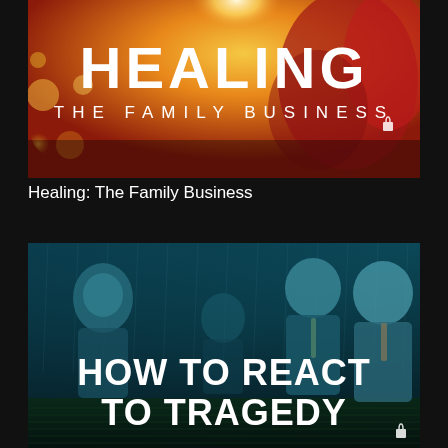[Figure (illustration): Thumbnail image for 'Healing: The Family Business' showing warm golden bokeh light with hands reaching, with large white bold text 'HEALING' and smaller spaced text 'THE FAMILY BUSINESS' with a lock icon]
Healing: The Family Business
[Figure (illustration): Thumbnail image for 'How to React to Tragedy' showing multiple men in suits against a blue-teal rainy background, with large white bold text 'HOW TO REACT TO TRAGEDY' and a lock icon in the corner]